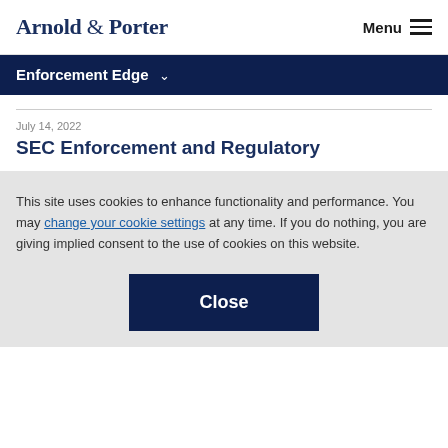Arnold & Porter   Menu
Enforcement Edge
July 14, 2022
SEC Enforcement and Regulatory
This site uses cookies to enhance functionality and performance. You may change your cookie settings at any time. If you do nothing, you are giving implied consent to the use of cookies on this website.
Close